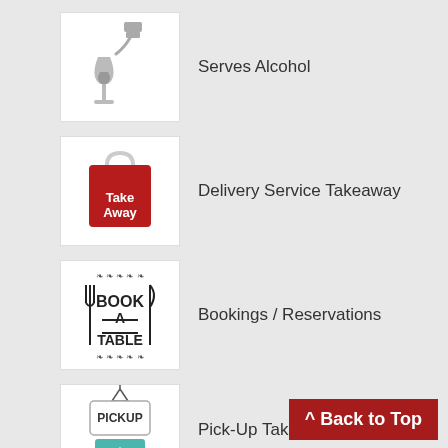[Figure (illustration): Wine bottle pouring into a wine glass, grey icon]
Serves Alcohol
[Figure (illustration): Red takeaway bag with 'Take Away' text in white]
Delivery Service Takeaway
[Figure (illustration): Book A Table sign with fork and knife icons and decorative border]
Bookings / Reservations
[Figure (illustration): Pickup sign hanging with teal accent]
Pick-Up Takeaways
^ Back to Top